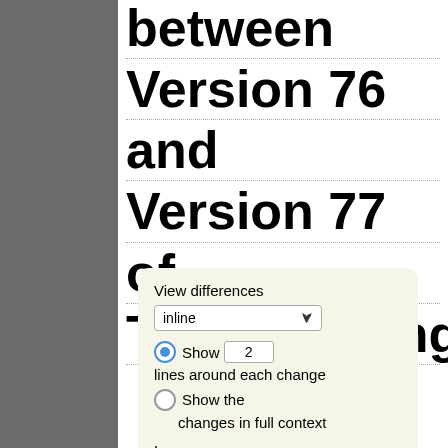between Version 76 and Version 77 of TimeTracking
[Figure (screenshot): UI panel for viewing differences: dropdown set to 'inline', radio button selected for 'Show 2 lines around each change', unselected radio for 'Show the changes in full context', Ignore section with unchecked checkbox for 'Blank lines']